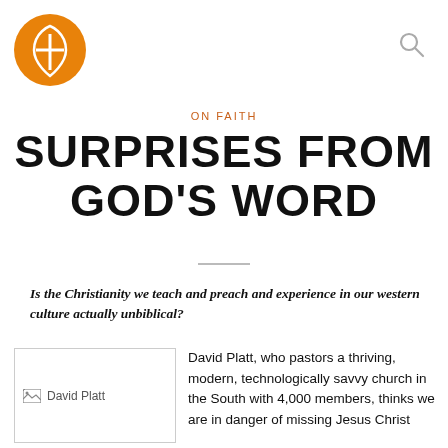[Figure (logo): Orange circular logo with white cross and leaf/shield shape inside]
ON FAITH
SURPRISES FROM GOD'S WORD
Is the Christianity we teach and preach and experience in our western culture actually unbiblical?
[Figure (photo): Photo of David Platt with broken image icon and alt text 'David Platt']
David Platt, who pastors a thriving, modern, technologically savvy church in the South with 4,000 members, thinks we are in danger of missing Jesus Christ